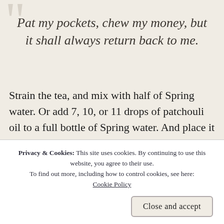Pat my pockets, chew my money, but it shall always return back to me.
Strain the tea, and mix with half of Spring water. Or add 7, 10, or 11 drops of patchouli oil to a full bottle of Spring water. And place it in a spray bottle. Lay out all your money, credit/debit cards, taxes, etc and give it a good spritz. Not too much, wouldn't f
Privacy & Cookies: This site uses cookies. By continuing to use this website, you agree to their use.
To find out more, including how to control cookies, see here: Cookie Policy
Close and accept